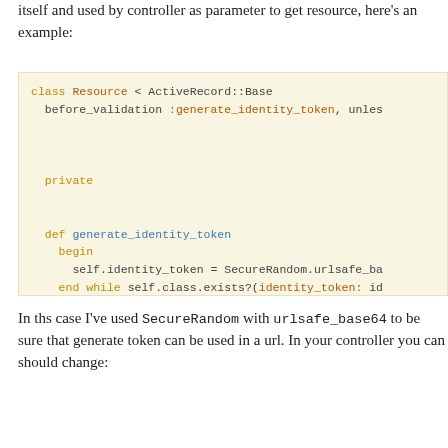itself and used by controller as parameter to get resource, here's an example:
[Figure (screenshot): Ruby code block showing a Resource class inheriting from ActiveRecord::Base with a before_validation callback and generate_identity_token method using SecureRandom.urlsafe_base64 in a begin/end while loop]
In ths case I've used SecureRandom with urlsafe_base64 to be sure that generate token can be used in a url. In your controller you can should change: